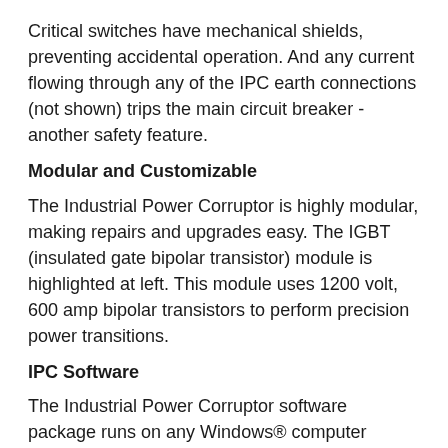Critical switches have mechanical shields, preventing accidental operation. And any current flowing through any of the IPC earth connections (not shown) trips the main circuit breaker - another safety feature.
Modular and Customizable
The Industrial Power Corruptor is highly modular, making repairs and upgrades easy. The IGBT (insulated gate bipolar transistor) module is highlighted at left. This module uses 1200 volt, 600 amp bipolar transistors to perform precision power transitions.
IPC Software
The Industrial Power Corruptor software package runs on any Windows® computer (Windows 95®, Windows 98®, Windows 2000®, Windows NT®, and Windows XP®), including DBC versions for Asian languages. Delivered on a CD-ROM, the software package manages most of the IPC operation. However, critical